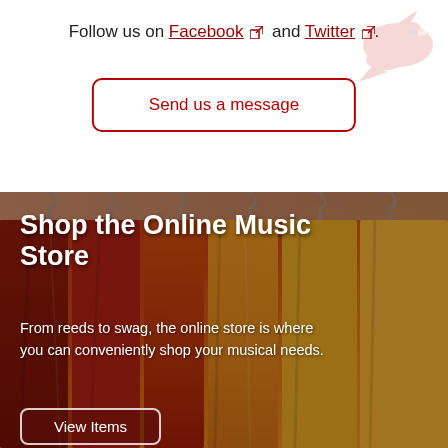Follow us on Facebook ↗ and Twitter ↗.
Send us a message
[Figure (photo): Background photo of colorful shirts (red, orange, yellow) hanging on a rack, used as the backdrop for the online music store section.]
Shop the Online Music Store
From reeds to swag, the online store is where you can conveniently shop your musical needs.
View Items